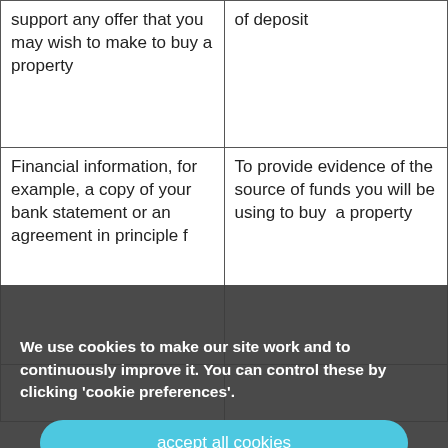| support any offer that you may wish to make to buy a property | of deposit |
| Financial information, for example, a copy of your bank statement or an agreement in principle f... | To provide evidence of the source of funds you will be using to buy a property |
| ... | ... |
We use cookies to make our site work and to continuously improve it. You can control these by clicking 'cookie preferences'.
accept all cookies
cookie preferences